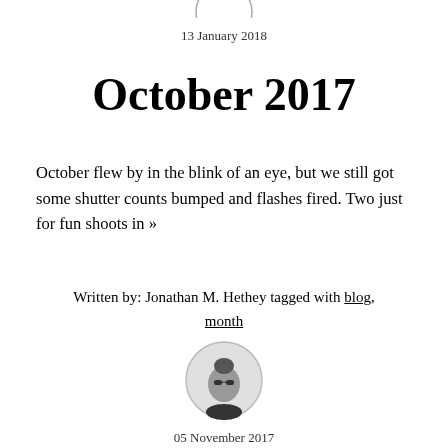[Figure (illustration): Partial circle/arc at top of page, cropped]
13 January 2018
October 2017
October flew by in the blink of an eye, but we still got some shutter counts bumped and flashes fired. Two just for fun shoots in »
Written by: Jonathan M. Hethey tagged with blog, month
[Figure (photo): Circular avatar photo of a person wearing sunglasses with a mohawk hairstyle, in a circular frame]
05 November 2017